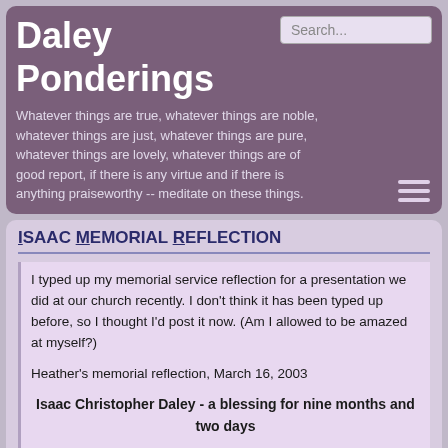Daley Ponderings
Whatever things are true, whatever things are noble, whatever things are just, whatever things are pure, whatever things are lovely, whatever things are of good report, if there is any virtue and if there is anything praiseworthy -- meditate on these things.
Isaac Memorial Reflection
I typed up my memorial service reflection for a presentation we did at our church recently.  I don't think it has been typed up before, so I thought I'd post it now.  (Am I allowed to be amazed at myself?)
Heather's memorial reflection, March 16, 2003
Isaac Christopher Daley - a blessing for nine months and two days
This reflection is going to focus on the blessings God has brought to our lives through Isaac.
I'll start by reading my diary entry written one year ago today - March 16,2002.  That was the day we confirmed my suspicions that there was a new life growing in me.  That new life was Isaac.
"It is the miracle of life!  God has opened my womb and breathed a new creation! It is a miracle - God created a whole new soul and has placed it in me for safekeeping.  May I be worthy.  I am so excited...